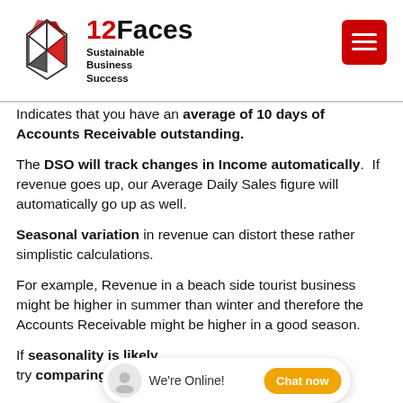12Faces Sustainable Business Success
Indicates that you have an average of 10 days of Accounts Receivable outstanding.
The DSO will track changes in Income automatically. If revenue goes up, our Average Daily Sales figure will automatically go up as well.
Seasonal variation in revenue can distort these rather simplistic calculations.
For example, Revenue in a beach side tourist business might be higher in summer than winter and therefore the Accounts Receivable might be higher in a good season.
If seasonality is likely try comparing your DSO